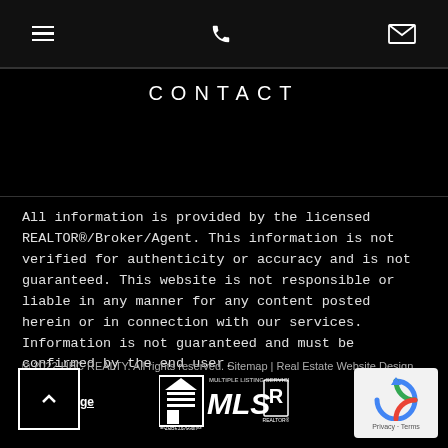[Navigation bar with menu, phone, and email icons]
CONTACT
All information is provided by the licensed REALTOR®/Broker/Agent. This information is not verified for authenticity or accuracy and is not guaranteed. This website is not responsible or liable in any manner for any content posted herein or in connection with our services. Information is not guaranteed and must be confirmed by the end user.
© 2022 HBC REALTY. All rights reserved. Sitemap | Real Estate Website Design by Agent Image
[Figure (logo): Equal Housing Opportunity, MLS Multiple Listing Service, and REALTOR logos]
[Figure (other): reCAPTCHA widget with Privacy and Terms links]